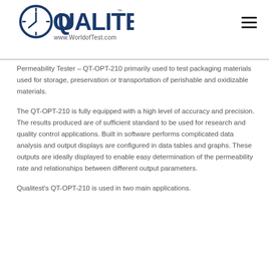Qualitest www.WorldofTest.com
Permeability Tester – QT-OPT-210 primarily used to test packaging materials used for storage, preservation or transportation of perishable and oxidizable materials.
The QT-OPT-210 is fully equipped with a high level of accuracy and precision. The results produced are of sufficient standard to be used for research and quality control applications. Built in software performs complicated data analysis and output displays are configured in data tables and graphs. These outputs are ideally displayed to enable easy determination of the permeability rate and relationships between different output parameters.
Qualitest's QT-OPT-210 is used in two main applications.